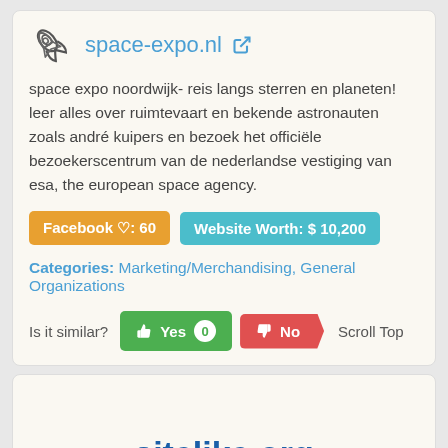space-expo.nl
space expo noordwijk- reis langs sterren en planeten! leer alles over ruimtevaart en bekende astronauten zoals andré kuipers en bezoek het officiële bezoekerscentrum van de nederlandse vestiging van esa, the european space agency.
Facebook ♡: 60    Website Worth: $ 10,200
Categories: Marketing/Merchandising, General Organizations
Is it similar? Yes 0  No  Scroll Top
sitelike.org